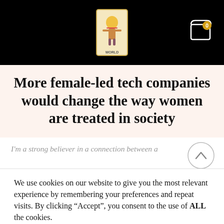Navigation bar with logo and cart icon showing 0 items
More female-led tech companies would change the way women are treated in society
I'm a strong believer in a connection between a…
We use cookies on our website to give you the most relevant experience by remembering your preferences and repeat visits. By clicking “Accept”, you consent to the use of ALL the cookies.
Cookie settings | ACCEPT